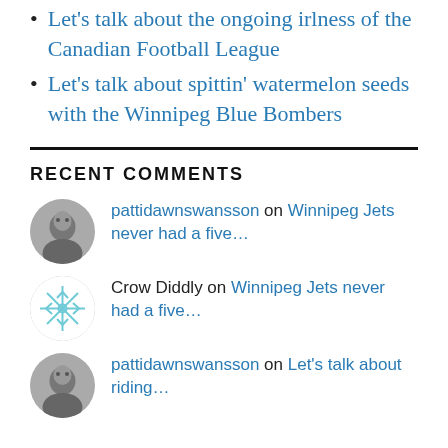Let's talk about the ongoing irlness of the Canadian Football League
Let's talk about spittin' watermelon seeds with the Winnipeg Blue Bombers
RECENT COMMENTS
pattidawnswansson on Winnipeg Jets never had a five…
Crow Diddly on Winnipeg Jets never had a five…
pattidawnswansson on Let's talk about riding…